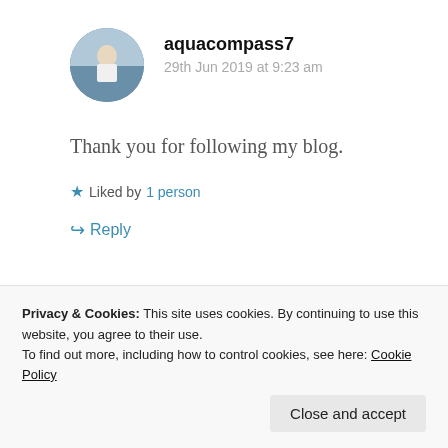[Figure (photo): Circular avatar photo of user aquacompass7, showing a person in a white shirt outdoors near water]
aquacompass7
29th Jun 2019 at 9:23 am
Thank you for following my blog.
★ Liked by 1 person
↳ Reply
Privacy & Cookies: This site uses cookies. By continuing to use this website, you agree to their use.
To find out more, including how to control cookies, see here: Cookie Policy
Close and accept